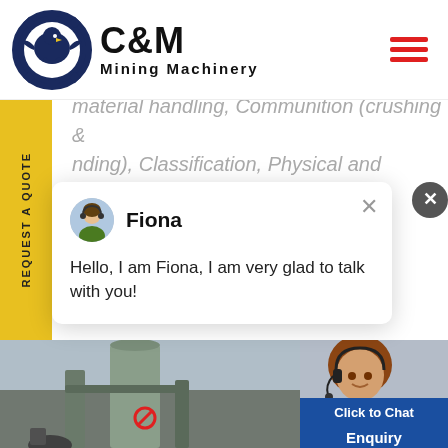[Figure (logo): C&M Mining Machinery logo with eagle/gear emblem on left and bold C&M text with Mining Machinery subtitle on right]
material handling, Communition (crushing & grinding), Classification, Physical and Chemical
REQUEST A QUOTE
[Figure (screenshot): Chat popup with avatar of Fiona and message: Hello, I am Fiona, I am very glad to talk with you!]
[Figure (photo): Industrial machinery/tower facility photo on left, customer service representative with headset on right, with teal notification circle showing 1, Click to Chat button, and Enquiry bar at bottom]